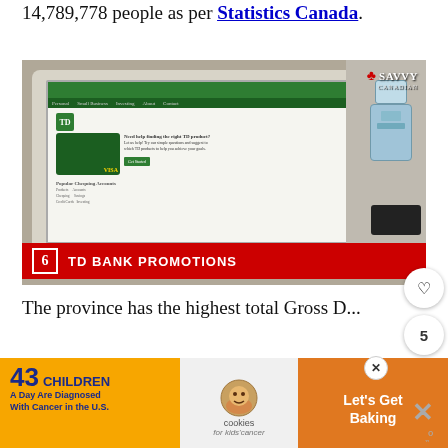14,789,778 people as per Statistics Canada.
[Figure (screenshot): A laptop computer showing the TD Bank website with a TD credit card promotion. A small toy robot is visible to the right of the laptop on a desk. The image has a 'Savvy Canadian' watermark in the top right corner. A red banner at the bottom reads '6 TD BANK PROMOTIONS'.]
The province has the highest total Gross D...
[Figure (infographic): Advertisement banner: '43 CHILDREN A Day Are Diagnosed With Cancer in the U.S.' alongside cookies for kids cancer - Let's Get Baking promotion.]